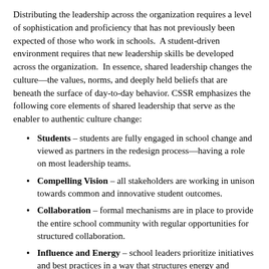Distributing the leadership across the organization requires a level of sophistication and proficiency that has not previously been expected of those who work in schools. A student-driven environment requires that new leadership skills be developed across the organization. In essence, shared leadership changes the culture—the values, norms, and deeply held beliefs that are beneath the surface of day-to-day behavior. CSSR emphasizes the following core elements of shared leadership that serve as the enabler to authentic culture change:
Students – students are fully engaged in school change and viewed as partners in the redesign process—having a role on most leadership teams.
Compelling Vision – all stakeholders are working in unison towards common and innovative student outcomes.
Collaboration – formal mechanisms are in place to provide the entire school community with regular opportunities for structured collaboration.
Influence and Energy – school leaders prioritize initiatives and best practices in a way that structures energy and influence towards the activities that have the greatest impact on student achievement.
Capacity Building – teachers, students and administrators are not only focusing on tangible classroom practices, but also cultivating the intrinsic behaviors that will sustain